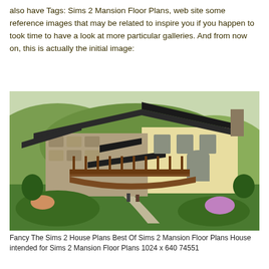also have Tags: Sims 2 Mansion Floor Plans, web site some reference images that may be related to inspire you if you happen to took time to have a look at more particular galleries. And from now on, this is actually the initial image:
[Figure (illustration): 3D rendered image of a large Sims 2 mansion with stone and stucco exterior, dark roof, wooden deck/balcony, surrounded by green landscaping and flowers]
Fancy The Sims 2 House Plans Best Of Sims 2 Mansion Floor Plans House intended for Sims 2 Mansion Floor Plans 1024 x 640 74551